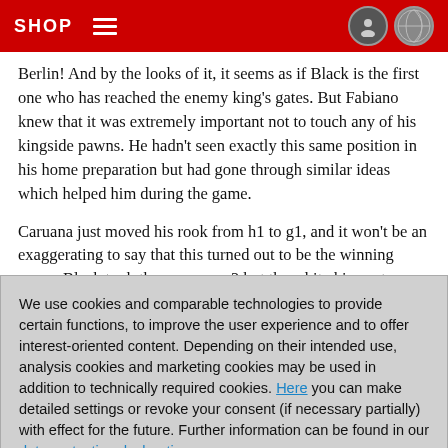SHOP
Berlin! And by the looks of it, it seems as if Black is the first one who has reached the enemy king's gates. But Fabiano knew that it was extremely important not to touch any of his kingside pawns. He hadn't seen exactly this same position in his home preparation but had gone through similar ideas which helped him during the game.
Caruana just moved his rook from h1 to g1, and it won't be an exaggerating to say that this turned out to be the winning move. Black took the pawn on a2 but the white king sat snugly on a1 behind the black pawn (reminds me of a poem that I wrote five years ago). In the end White's attack broke through and Hikaru
We use cookies and comparable technologies to provide certain functions, to improve the user experience and to offer interest-oriented content. Depending on their intended use, analysis cookies and marketing cookies may be used in addition to technically required cookies. Here you can make detailed settings or revoke your consent (if necessary partially) with effect for the future. Further information can be found in our data protection declaration.
Agree and continue